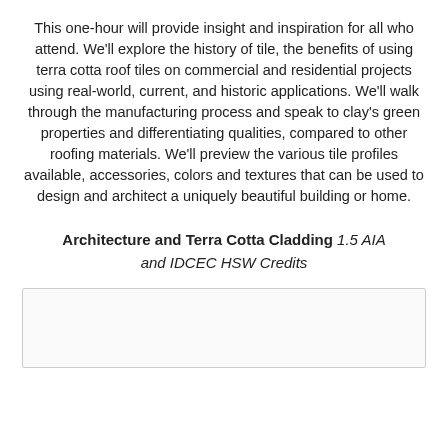This one-hour will provide insight and inspiration for all who attend. We'll explore the history of tile, the benefits of using terra cotta roof tiles on commercial and residential projects using real-world, current, and historic applications. We'll walk through the manufacturing process and speak to clay's green properties and differentiating qualities, compared to other roofing materials. We'll preview the various tile profiles available, accessories, colors and textures that can be used to design and architect a uniquely beautiful building or home.
Architecture and Terra Cotta Cladding 1.5 AIA and IDCEC HSW Credits
[Figure (other): Empty image/photo placeholder box with light gray background]